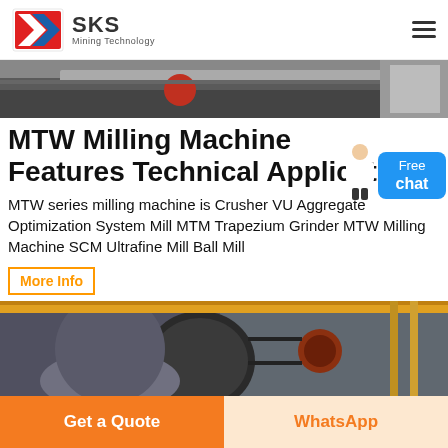SKS Mining Technology
[Figure (photo): Industrial mining/milling machine equipment photo banner — dark industrial machinery with red cylindrical component]
MTW Milling Machine Features Technical Application
MTW series milling machine is Crusher VU Aggregate Optimization System Mill MTM Trapezium Grinder MTW Milling Machine SCM Ultrafine Mill Ball Mill
More Info
[Figure (photo): Industrial milling machine interior photo — large metal cone/disc machinery with belt pulley, crane beam visible above]
Get a Quote
WhatsApp